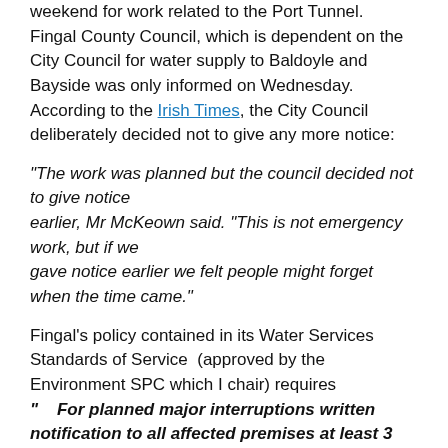weekend for work related to the Port Tunnel.  Fingal County Council, which is dependent on the City Council for water supply to Baldoyle and Bayside was only informed on Wednesday.  According to the Irish Times, the City Council deliberately decided not to give any more notice:
"The work was planned but the council decided not to give notice earlier, Mr McKeown said. "This is not emergency work, but if we gave notice earlier we felt people might forget when the time came."
Fingal's policy contained in its Water Services Standards of Service  (approved by the Environment SPC which I chair) requires "   For planned major interruptions written notification to all affected premises at least 3 days in advance."